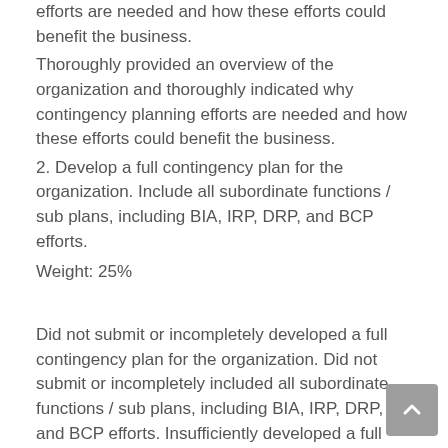efforts are needed and how these efforts could benefit the business.
Thoroughly provided an overview of the organization and thoroughly indicated why contingency planning efforts are needed and how these efforts could benefit the business.
2. Develop a full contingency plan for the organization. Include all subordinate functions / sub plans, including BIA, IRP, DRP, and BCP efforts.
Weight: 25%
Did not submit or incompletely developed a full contingency plan for the organization. Did not submit or incompletely included all subordinate functions / sub plans, including BIA, IRP, DRP, and BCP efforts. Insufficiently developed a full contingency plan for the organization. Insufficiently included all subordinate functions / sub plans, including BIA, IRP, DRP, and BCP efforts.